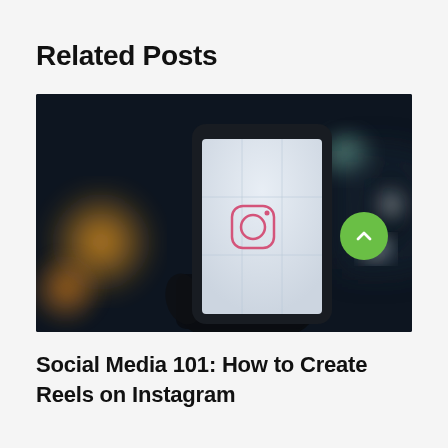Related Posts
[Figure (photo): A hand holding a smartphone displaying the Instagram app icon on a white gridded screen, with a dark blurred background featuring bokeh lights and partial letters.]
Social Media 101: How to Create Reels on Instagram